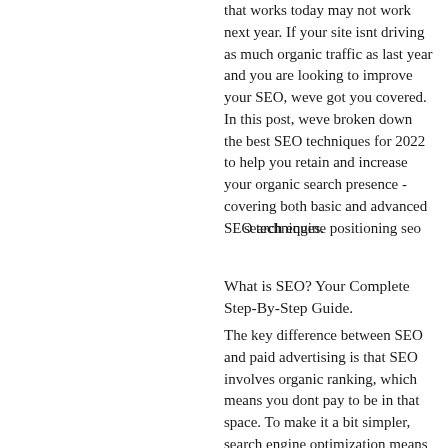that works today may not work next year. If your site isnt driving as much organic traffic as last year and you are looking to improve your SEO, weve got you covered. In this post, weve broken down the best SEO techniques for 2022 to help you retain and increase your organic search presence - covering both basic and advanced SEO techniques.
search engine positioning seo
What is SEO? Your Complete Step-By-Step Guide.
The key difference between SEO and paid advertising is that SEO involves organic ranking, which means you dont pay to be in that space. To make it a bit simpler, search engine optimization means taking a piece of online content